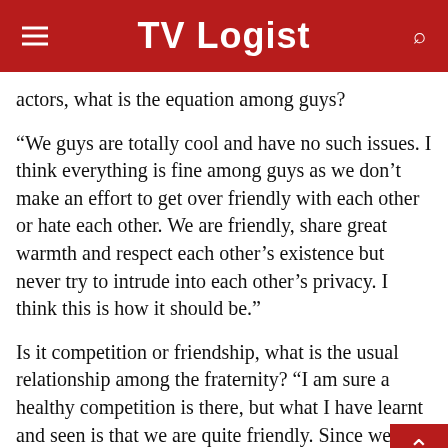TV Logist
actors, what is the equation among guys?
“We guys are totally cool and have no such issues. I think everything is fine among guys as we don’t make an effort to get over friendly with each other or hate each other. We are friendly, share great warmth and respect each other’s existence but never try to intrude into each other’s privacy. I think this is how it should be.”
Is it competition or friendship, what is the usual relationship among the fraternity? “I am sure a healthy competition is there, but what I have learnt and seen is that we are quite friendly. Since we young brigade, we tend to gel well, along with keeping a tab on what our counterparts are doing.”